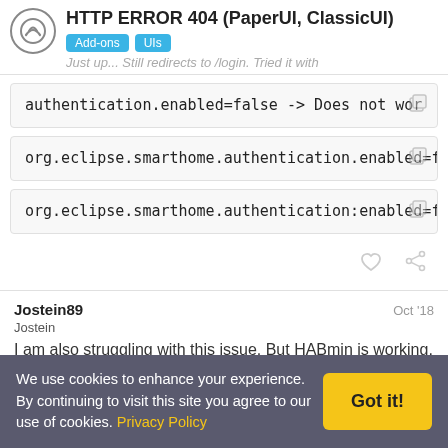HTTP ERROR 404 (PaperUI, ClassicUI)
Add-ons  UIs
Just up... Still redirects to /login. Tried it with
authentication.enabled=false -> Does not wor
org.eclipse.smarthome.authentication.enabled=fa
org.eclipse.smarthome.authentication:enabled=fa
Jostein89  Oct '18
Jostein
I am also struggling with this issue. But HABmin is working, but I
We use cookies to enhance your experience. By continuing to visit this site you agree to our use of cookies. Privacy Policy   Got it!